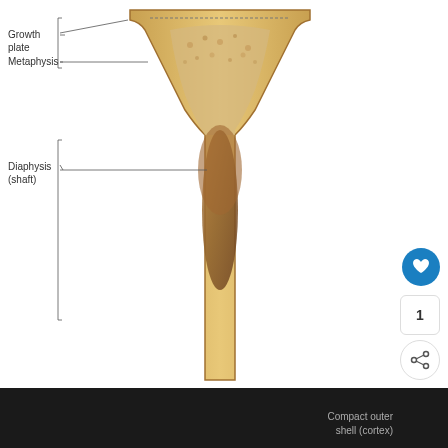[Figure (illustration): Two anatomical diagrams of bone structure. Top diagram shows a cross-section of the upper end of a long bone with labels: Growth plate, Metaphysis, Diaphysis (shaft). Bottom diagram shows a full longitudinal cross-section of a long bone with labels: Epiphysis (end of bone), Spongy tissue with red bone marrow, Diaphysis (middle section of bone), Blood supply to bone (nutrient artery), Spongy tissue with yellow bone marrow, Compact outer shell (cortex).]